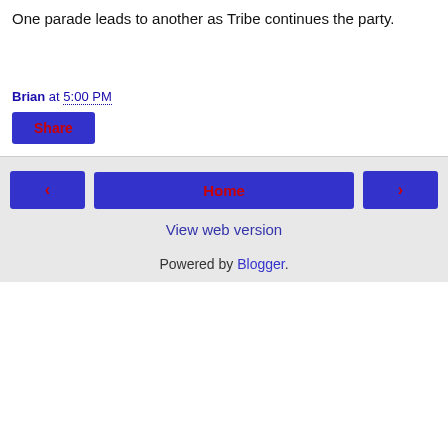One parade leads to another as Tribe continues the party.
Brian at 5:00 PM
Share
◂   Home   ▸   View web version   Powered by Blogger.